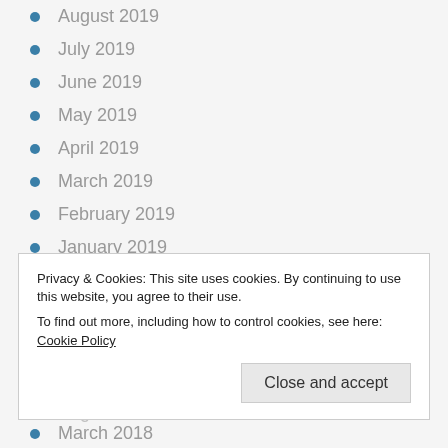August 2019
July 2019
June 2019
May 2019
April 2019
March 2019
February 2019
January 2019
December 2018
November 2018
October 2018
September 2018
Privacy & Cookies: This site uses cookies. By continuing to use this website, you agree to their use.
To find out more, including how to control cookies, see here: Cookie Policy
March 2018